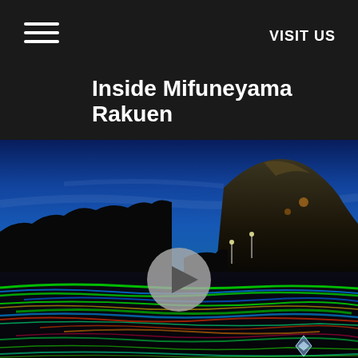VISIT US
Inside Mifuneyama Rakuen
[Figure (photo): Night photo of Mifuneyama Rakuen garden showing a dramatic illuminated scene: deep blue twilight sky, rocky mountain silhouette in the background with orange lights, dark forested hillside, and a reflective pond/water surface covered with vivid multicolored light projections in green, blue, red, yellow streaks. A play button icon is overlaid at center.]